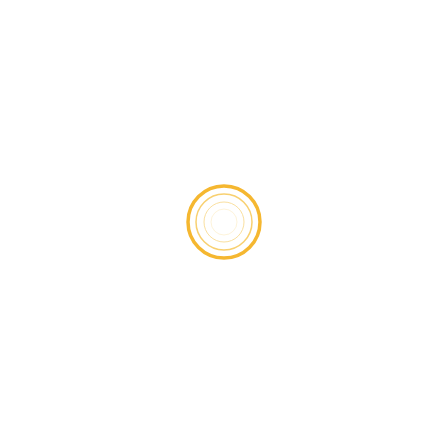[Figure (other): A small circular loading spinner or icon consisting of concentric circles with a golden/amber yellow color on a white background, centered slightly below the middle of the page.]